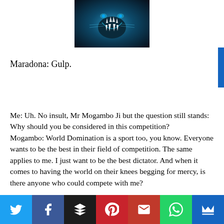[Figure (photo): A dark blue image of an animal (appears to be a large cat like a panther or lion) with mouth open showing teeth, glowing blue tones.]
Maradona: Gulp.
Me: Uh. No insult, Mr Mogambo Ji but the question still stands: Why should you be considered in this competition?
Mogambo: World Domination is a sport too, you know. Everyone wants to be the best in their field of competition. The same applies to me. I just want to be the best dictator. And when it comes to having the world on their knees begging for mercy, is there anyone who could compete with me?
MNS: Manoi Night Shyamalan here. I would